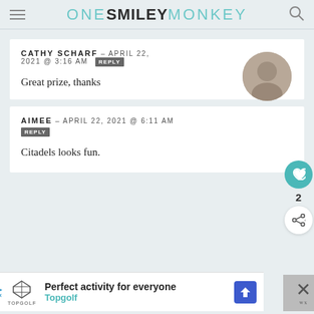ONE SMILEY MONKEY
CATHY SCHARF – APRIL 22, 2021 @ 3:16 AM  REPLY
Great prize, thanks
AIMEE – APRIL 22, 2021 @ 6:11 AM  REPLY
Citadels looks fun.
Perfect activity for everyone  Topgolf